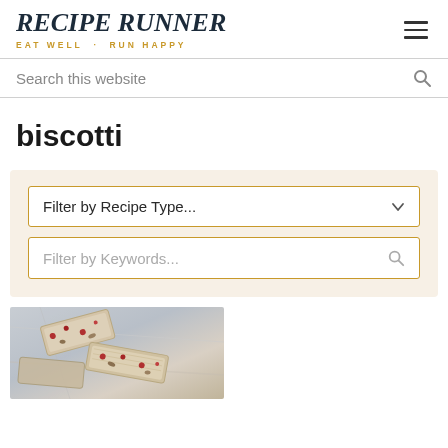RECIPE RUNNER — EAT WELL · RUN HAPPY
biscotti
Filter by Recipe Type...
Filter by Keywords...
[Figure (photo): Close-up photo of biscotti slices showing cranberry and nut pieces on a marble surface]